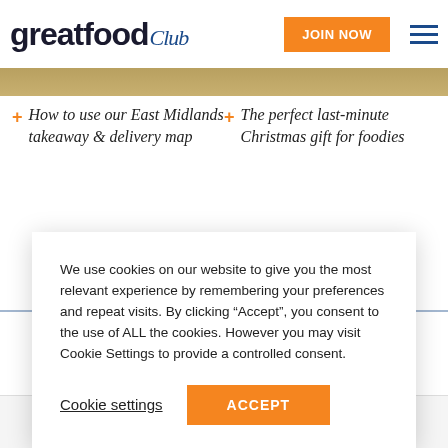greatfood club
+ How to use our East Midlands takeaway & delivery map
+ The perfect last-minute Christmas gift for foodies
We use cookies on our website to give you the most relevant experience by remembering your preferences and repeat visits. By clicking “Accept”, you consent to the use of ALL the cookies. However you may visit Cookie Settings to provide a controlled consent.
Cookie settings | ACCEPT
NFU Mutual | CATENA